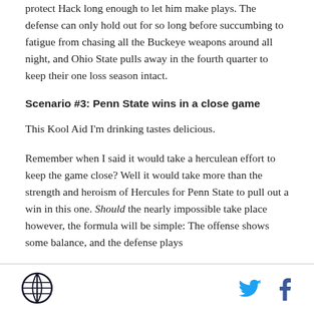protect Hack long enough to let him make plays. The defense can only hold out for so long before succumbing to fatigue from chasing all the Buckeye weapons around all night, and Ohio State pulls away in the fourth quarter to keep their one loss season intact.
Scenario #3: Penn State wins in a close game
This Kool Aid I'm drinking tastes delicious.
Remember when I said it would take a herculean effort to keep the game close? Well it would take more than the strength and heroism of Hercules for Penn State to pull out a win in this one. Should the nearly impossible take place however, the formula will be simple: The offense shows some balance, and the defense plays
Logo | Twitter | Facebook